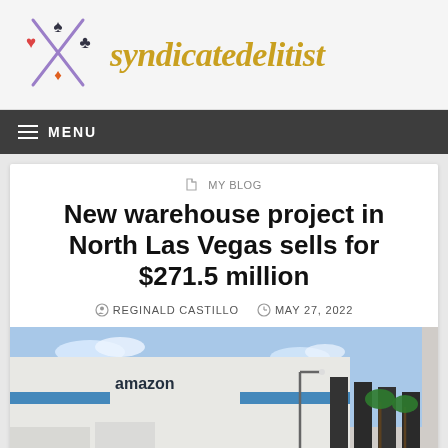syndicatedelitist
MENU
MY BLOG
New warehouse project in North Las Vegas sells for $271.5 million
REGINALD CASTILLO   MAY 27, 2022
[Figure (photo): Exterior of an Amazon warehouse facility in North Las Vegas, showing large white building with Amazon branding and blue stripe, dark pillar structures on the right, palm trees, and street lamps under a blue sky.]